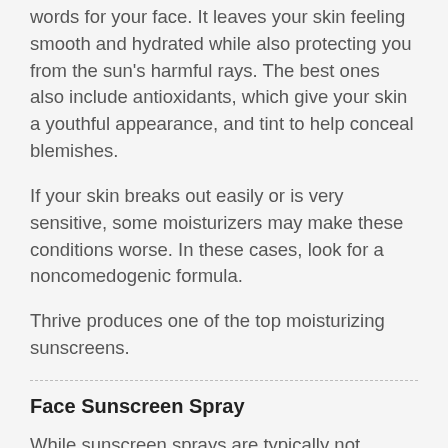words for your face. It leaves your skin feeling smooth and hydrated while also protecting you from the sun's harmful rays. The best ones also include antioxidants, which give your skin a youthful appearance, and tint to help conceal blemishes.
If your skin breaks out easily or is very sensitive, some moisturizers may make these conditions worse. In these cases, look for a noncomedogenic formula.
Thrive produces one of the top moisturizing sunscreens.
Face Sunscreen Spray
While sunscreen sprays are typically not recommended because of their inconsistent and insufficient application, they can be useful for facial coverage in certain situations.